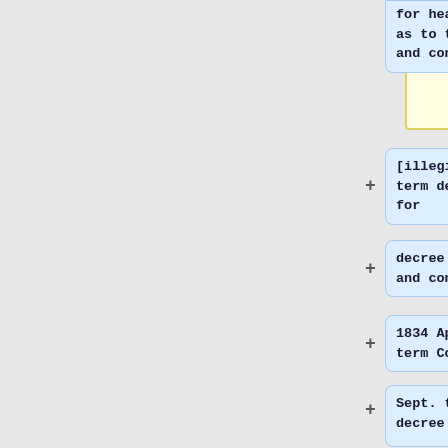[Figure (other): Yellow bordered box, likely an image placeholder]
for hearing as to them and cont.
[illegible] term decree for
decree filed and cont
1834 April term Cont.
Sept. term decree [illegible] filed and cont.
1835 June decree [illegible] decree filed